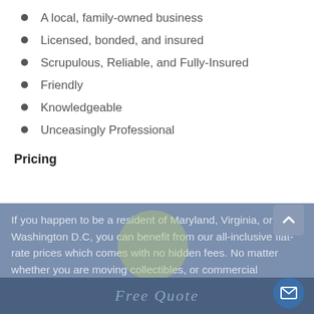A local, family-owned business
Licensed, bonded, and insured
Scrupulous, Reliable, and Fully-Insured
Friendly
Knowledgeable
Unceasingly Professional
Pricing
If you happen to be a resident of Maryland, Virginia, or Washington D.C, you can benefit from our all-inclusive flat-rate prices which comes with no hidden fees. No matter whether you are moving collectibles, or commercial machines, moving large items or small, we get the task done right. Our on the spot quotes are centered basically around the nature of the inventory and the time
Free Quote